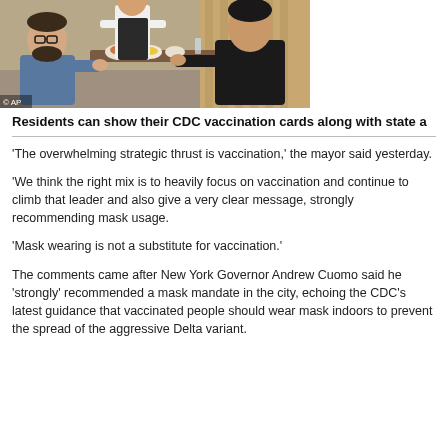[Figure (photo): People dining at a restaurant table, served by a waiter in a black apron. Two men are seated and eating food. AP photo credit.]
Residents can show their CDC vaccination cards along with state a
'The overwhelming strategic thrust is vaccination,' the mayor said yesterday.
'We think the right mix is to heavily focus on vaccination and continue to climb that leader and also give a very clear message, strongly recommending mask usage.
'Mask wearing is not a substitute for vaccination.'
The comments came after New York Governor Andrew Cuomo said he 'strongly' recommended a mask mandate in the city, echoing the CDC's latest guidance that vaccinated people should wear mask indoors to prevent the spread of the aggressive Delta variant.